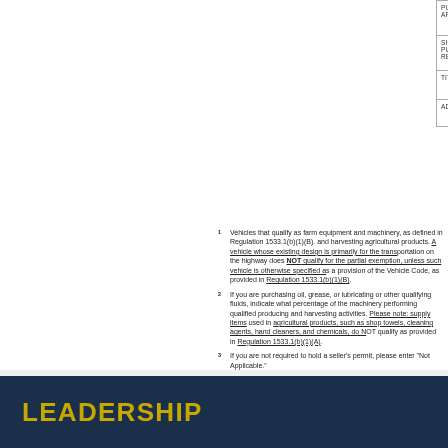| PURCHASER'S NAME OR COMPANY NAME (if applicable) | D |
| --- | --- |
| SIGNATURE: (signature of the purchaser, purchaser's employee, or authorized representative of the purchaser) | P |
| TITLE | TI |
| ADDRESS | CITY | S |
1 Vehicles that qualify as farm equipment and machinery, as defined in Regulation 1533.1(b)(1)(B). and harvesting agricultural products. A vehicle whose existing design is primarily for the transportation on the highway does NOT qualify for the partial exemption, unless such vehicle is otherwise specified as a provision of the Vehicle Code, as provided in Regulation 1533.1(b)(1)(B).
2 If you are purchasing oil, grease, or lubricating or other qualifying fluids, indicate what percentage of the machinery performing qualified producing and harvesting activities. Please note: supply items used in agricultural products, such as shop towels, cleaning agents, hand cleaners, and chemicals, do NOT qualify as provided in Regulation 1533.1(b)(1)(A).
3 If you are not required to hold a seller's permit, please enter "Not Applicable."
LEADERSHIP